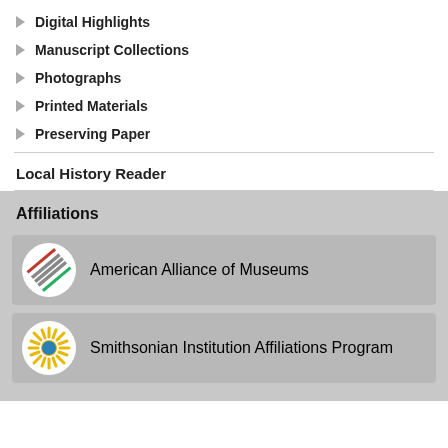Digital Highlights
Manuscript Collections
Photographs
Printed Materials
Preserving Paper
Local History Reader
Affiliations
American Alliance of Museums
Smithsonian Institution Affiliations Program